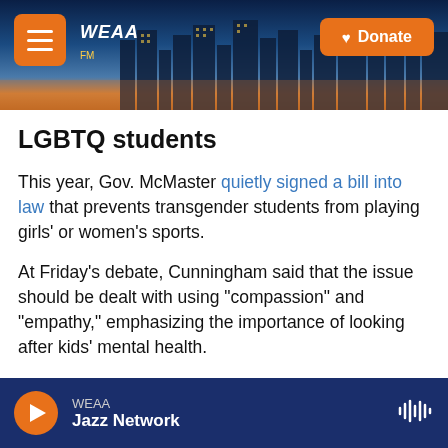[Figure (screenshot): WEAA radio station website header with city skyline background, hamburger menu button, WEAA logo, and orange Donate button]
LGBTQ students
This year, Gov. McMaster quietly signed a bill into law that prevents transgender students from playing girls' or women's sports.
At Friday's debate, Cunningham said that the issue should be dealt with using "compassion" and "empathy," emphasizing the importance of looking after kids' mental health.
"We need to care for our kids and send a clear message to our politicians to leave our kids alone,"
WEAA Jazz Network